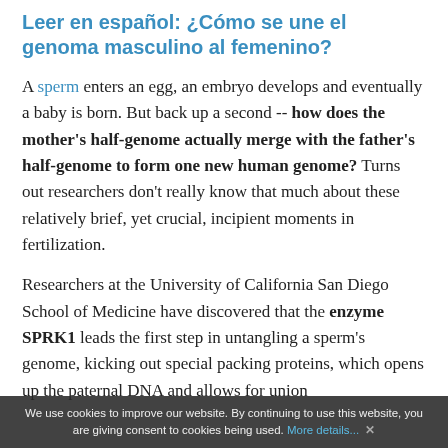Leer en español: ¿Cómo se une el genoma masculino al femenino?
A sperm enters an egg, an embryo develops and eventually a baby is born. But back up a second -- how does the mother's half-genome actually merge with the father's half-genome to form one new human genome? Turns out researchers don't really know that much about these relatively brief, yet crucial, incipient moments in fertilization.
Researchers at the University of California San Diego School of Medicine have discovered that the enzyme SPRK1 leads the first step in untangling a sperm's genome, kicking out special packing proteins, which opens up the paternal DNA and allows for union...
We use cookies to improve our website. By continuing to use this website, you are giving consent to cookies being used. More details... ✕